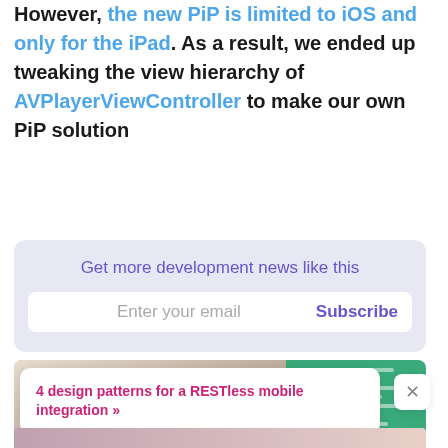However, the new PiP is limited to iOS and only for the iPad. As a result, we ended up tweaking the view hierarchy of AVPlayerViewController to make our own PiP solution
[Figure (infographic): Newsletter subscription box with purple background. Contains text 'Get more development news like this' and an email input field with 'Enter your email' placeholder and a 'Subscribe' button.]
[Figure (photo): Article card showing a man with glasses and a green code panel overlay on the right side.]
4 design patterns for a RESTless mobile integration »